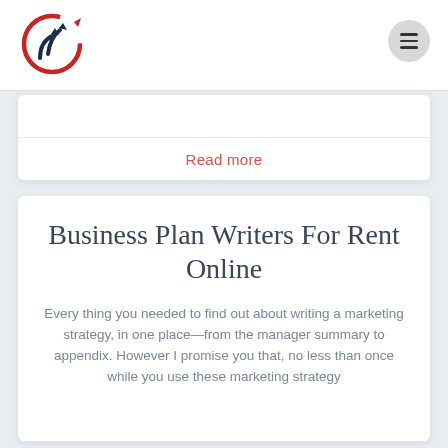[Figure (logo): Circular logo with red circle and dark blue upward arrows]
[Figure (other): Hamburger menu icon (three horizontal lines) inside a light gray circle]
Read more
Business Plan Writers For Rent Online
Every thing you needed to find out about writing a marketing strategy, in one place—from the manager summary to appendix. However I promise you that, no less than once while you use these marketing strategy